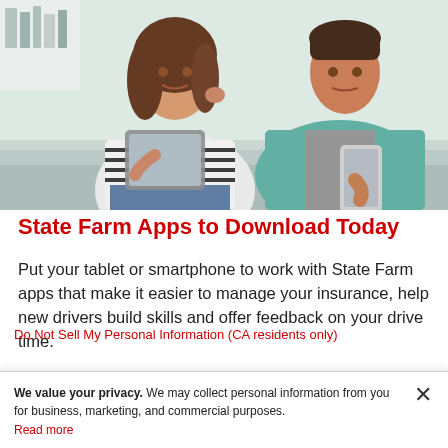[Figure (photo): A woman and a man sitting together on a couch. The woman is holding a tablet and smiling, touching her hair. The man is holding a smartphone and looking down at it. The woman wears a black-and-white striped shirt; the man wears a teal/green open shirt over a grey shirt.]
State Farm Apps to Download Today
Put your tablet or smartphone to work with State Farm apps that make it easier to manage your insurance, help new drivers build skills and offer feedback on your drive time.
We value your privacy. We may collect personal information from you for business, marketing, and commercial purposes. Read more
Do Not Sell My Personal Information (CA residents only)